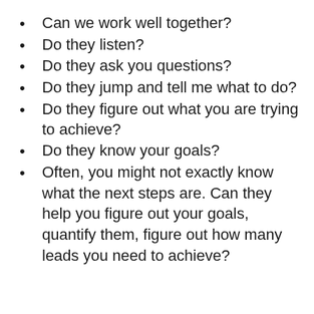Can we work well together?
Do they listen?
Do they ask you questions?
Do they jump and tell me what to do?
Do they figure out what you are trying to achieve?
Do they know your goals?
Often, you might not exactly know what the next steps are. Can they help you figure out your goals, quantify them, figure out how many leads you need to achieve?